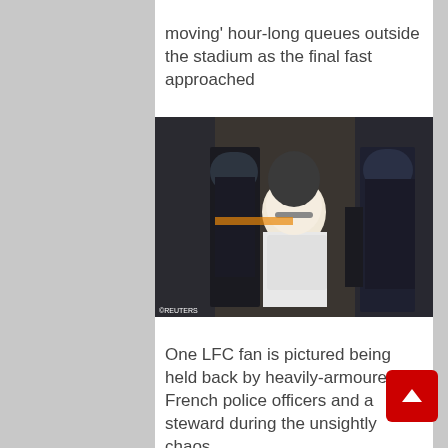moving' hour-long queues outside the stadium as the final fast approached
[Figure (photo): A Liverpool FC fan in a white t-shirt being held back by heavily-armoured French police officers in riot gear and an orange-vested steward outside a stadium]
One LFC fan is pictured being held back by heavily-armoured French police officers and a steward during the unsightly chaos
[Figure (photo): Partial view of a stadium pitch through fencing/netting, showing grass and goal area]